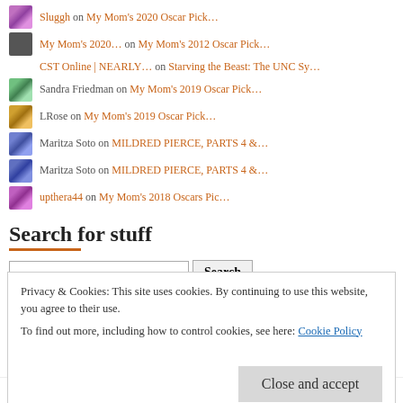Sluggh on My Mom's 2020 Oscar Pick…
My Mom's 2020… on My Mom's 2012 Oscar Pick…
CST Online | NEARLY… on Starving the Beast: The UNC Sy…
Sandra Friedman on My Mom's 2019 Oscar Pick…
LRose on My Mom's 2019 Oscar Pick…
Maritza Soto on MILDRED PIERCE, PARTS 4 &…
Maritza Soto on MILDRED PIERCE, PARTS 4 &…
upthera44 on My Mom's 2018 Oscars Pic…
Search for stuff
Privacy & Cookies: This site uses cookies. By continuing to use this website, you agree to their use. To find out more, including how to control cookies, see here: Cookie Policy
Close and accept
4   5   6   7   8   9   10